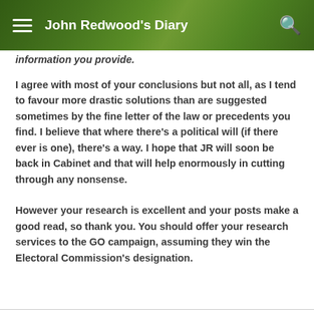John Redwood's Diary
information you provide.
I agree with most of your conclusions but not all, as I tend to favour more drastic solutions than are suggested sometimes by the fine letter of the law or precedents you find. I believe that where there’s a political will (if there ever is one), there’s a way. I hope that JR will soon be back in Cabinet and that will help enormously in cutting through any nonsense.
However your research is excellent and your posts make a good read, so thank you. You should offer your research services to the GO campaign, assuming they win the Electoral Commission’s designation.